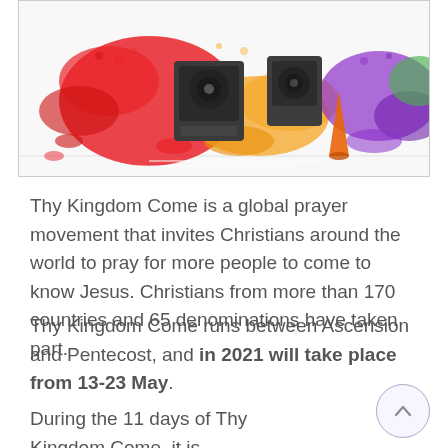[Figure (illustration): Colorful paint splash illustration with cartoon-style objects including what appears to be speakers and music equipment with vibrant red, orange, yellow, green, and purple paint splatters on a white/grey background.]
Thy Kingdom Come is a global prayer movement that invites Christians around the world to pray for more people to come to know Jesus. Christians from more than 170 countries and 65 denominations have taken part.
Thy Kingdom Come runs between Ascension and Pentecost, and in 2021 will take place from 13-23 May.
During the 11 days of Thy Kingdom Come, it is hoped that everyone who